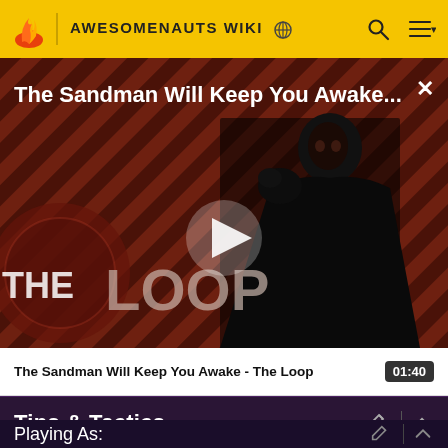AWESOMENAUTS WIKI
[Figure (screenshot): Video thumbnail for 'The Sandman Will Keep You Awake - The Loop' showing a dark figure against a diagonal striped red and black background with The Loop watermark and a play button overlay]
The Sandman Will Keep You Awake - The Loop  01:40
Tips & Tactics
Playing As: